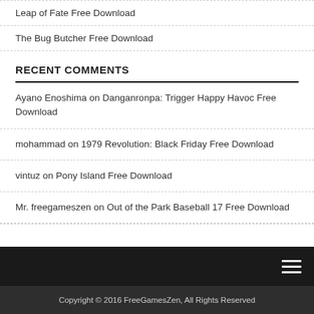Leap of Fate Free Download
The Bug Butcher Free Download
RECENT COMMENTS
Ayano Enoshima on Danganronpa: Trigger Happy Havoc Free Download
mohammad on 1979 Revolution: Black Friday Free Download
vintuz on Pony Island Free Download
Mr. freegameszen on Out of the Park Baseball 17 Free Download
Copyright © 2016 FreeGamesZen, All Rights Reserved